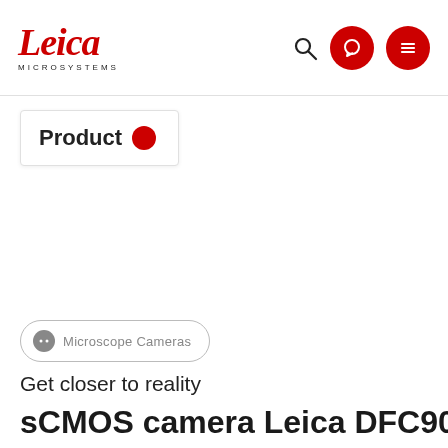Leica Microsystems
Product
Microscope Cameras
Get closer to reality
sCMOS camera Leica DFC9000